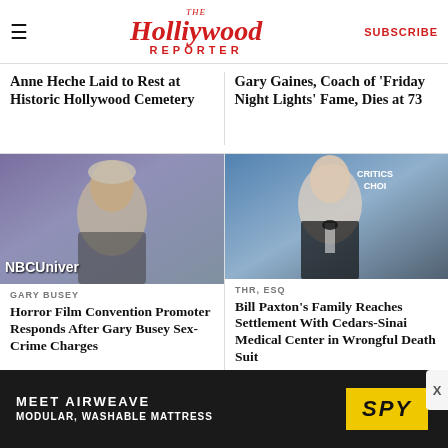The Hollywood Reporter | SUBSCRIBE
Anne Heche Laid to Rest at Historic Hollywood Cemetery
Gary Gaines, Coach of 'Friday Night Lights' Fame, Dies at 73
[Figure (photo): Photo of Gary Busey at NBCUniversal event, purple background]
GARY BUSEY
Horror Film Convention Promoter Responds After Gary Busey Sex-Crime Charges
[Figure (photo): Photo of Bill Paxton at Critics Choice event, blue/dark background]
THR, ESQ
Bill Paxton's Family Reaches Settlement With Cedars-Sinai Medical Center in Wrongful Death Suit
MEET AIRWEAVE MODULAR, WASHABLE MATTRESS SPY